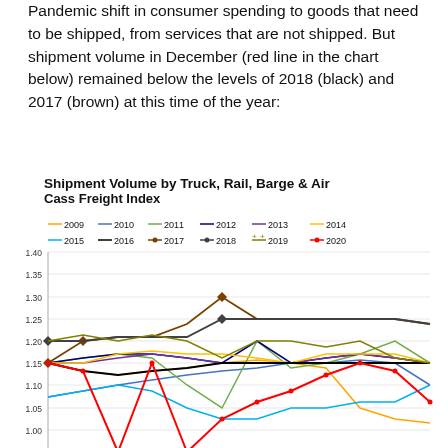Pandemic shift in consumer spending to goods that need to be shipped, from services that are not shipped. But shipment volume in December (red line in the chart below) remained below the levels of 2018 (black) and 2017 (brown) at this time of the year:
[Figure (line-chart): Multi-line chart showing Cass Freight Index shipment volume by year (2009-2020) across months. Y-axis ranges from ~0.95 to 1.40. Each year shown as a different colored line. 2020 shown in red, 2018 in black with diamonds, 2017 in dark brown with diamonds, 2019 in olive with plus markers.]